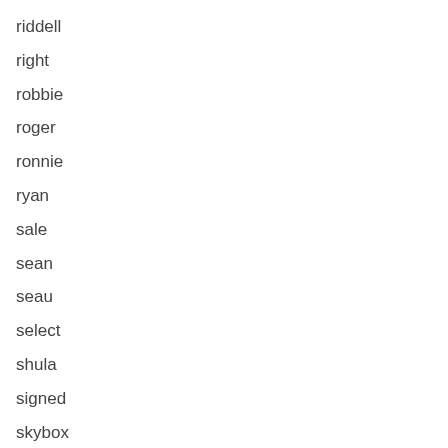riddell
right
robbie
roger
ronnie
ryan
sale
sean
seau
select
shula
signed
skybox